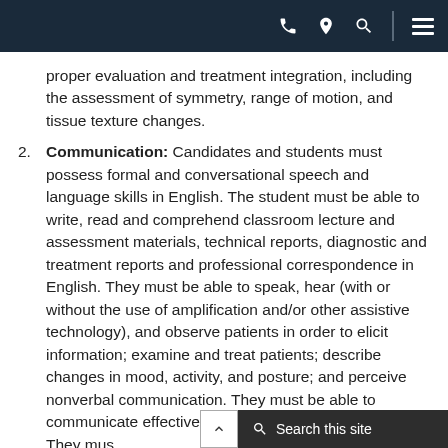[Navigation bar with phone, location, search, and menu icons]
proper evaluation and treatment integration, including the assessment of symmetry, range of motion, and tissue texture changes.
2. Communication: Candidates and students must possess formal and conversational speech and language skills in English. The student must be able to write, read and comprehend classroom lecture and assessment materials, technical reports, diagnostic and treatment reports and professional correspondence in English. They must be able to speak, hear (with or without the use of amplification and/or other assistive technology), and observe patients in order to elicit information; examine and treat patients; describe changes in mood, activity, and posture; and perceive nonverbal communication. They must be able to communicate effectively and sensitively with patients. They mus...